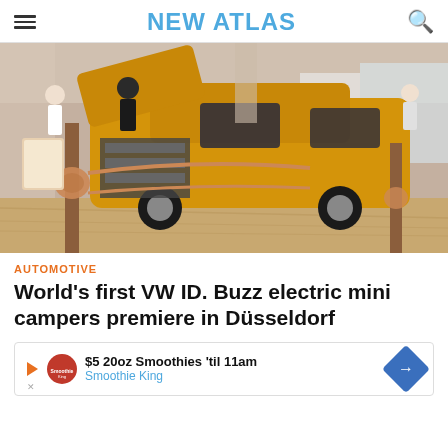NEW ATLAS
[Figure (photo): A yellow VW ID. Buzz electric minivan displayed at an automotive show, rear hatch open, with wooden posts and rope décor in the foreground, other exhibition booths visible in background.]
AUTOMOTIVE
World's first VW ID. Buzz electric mini campers premiere in Düsseldorf
[Figure (other): Advertisement banner: $5 20oz Smoothies 'til 11am - Smoothie King, with logo and directional arrow icon.]